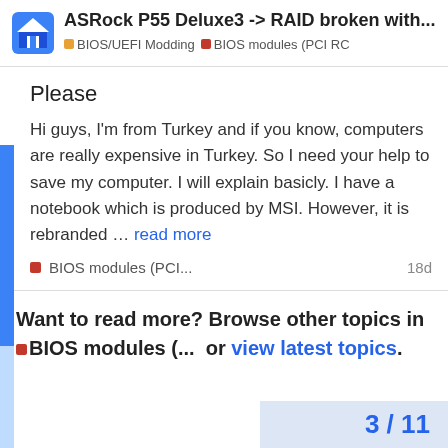ASRock P55 Deluxe3 -> RAID broken with... | BIOS/UEFI Modding | BIOS modules (PCI RC
Please
Hi guys, I'm from Turkey and if you know, computers are really expensive in Turkey. So I need your help to save my computer. I will explain basicly. I have a notebook which is produced by MSI. However, it is rebranded … read more
BIOS modules (PCI... 18d
Want to read more? Browse other topics in BIOS modules (... or view latest topics.
3 / 11